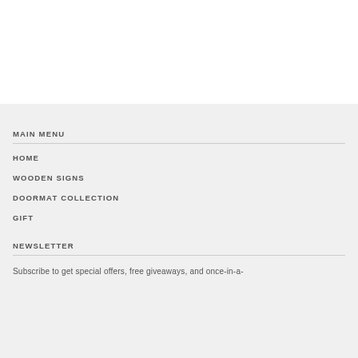MAIN MENU
HOME
WOODEN SIGNS
DOORMAT COLLECTION
GIFT
NEWSLETTER
Subscribe to get special offers, free giveaways, and once-in-a-